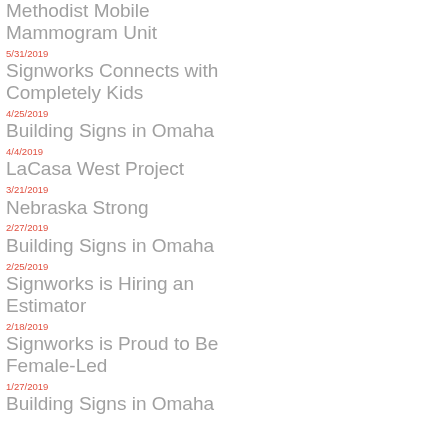Methodist Mobile Mammogram Unit
5/31/2019
Signworks Connects with Completely Kids
4/25/2019
Building Signs in Omaha
4/4/2019
LaCasa West Project
3/21/2019
Nebraska Strong
2/27/2019
Building Signs in Omaha
2/25/2019
Signworks is Hiring an Estimator
2/18/2019
Signworks is Proud to Be Female-Led
1/27/2019
Building Signs in Omaha